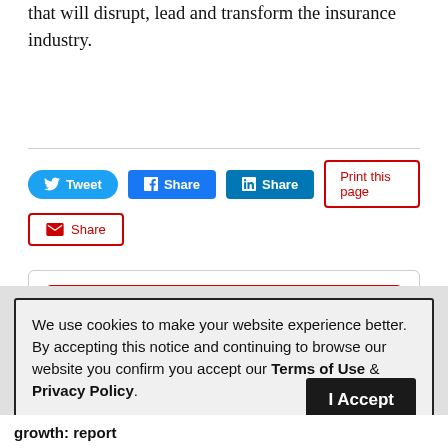that will disrupt, lead and transform the insurance industry.
Tweet  Share  Share  Print this page  Share
More News
Related
We use cookies to make your website experience better. By accepting this notice and continuing to browse our website you confirm you accept our Terms of Use & Privacy Policy.
read more >>
I Accept
growth: report